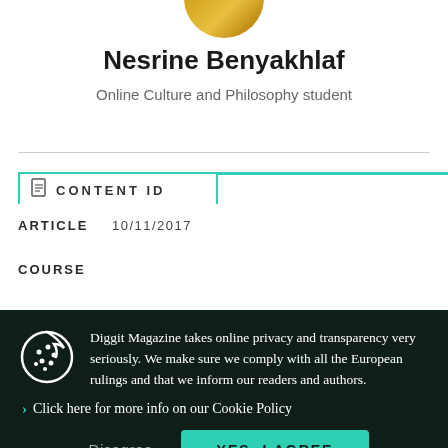[Figure (photo): Partial avatar/profile photo at top center, showing colorful image cropped at top edge]
Nesrine Benyakhlaf
Online Culture and Philosophy student
CONTENT ID
ARTICLE   10/11/2017
COURSE
Diggit Magazine takes online privacy and transparency very seriously. We make sure we comply with all the European rulings and that we inform our readers and authors.
Click here for more info on our Cookie Policy
Disagree
YES, I AGREE